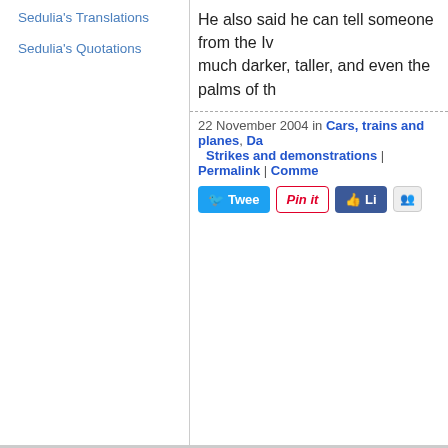Sedulia's Translations
Sedulia's Quotations
He also said he can tell someone from the Iv... much darker, taller, and even the palms of th...
22 November 2004 in Cars, trains and planes, Da... Strikes and demonstrations | Permalink | Comme...
[Figure (screenshot): Social sharing buttons: Tweet, Pin it, Like, Share]